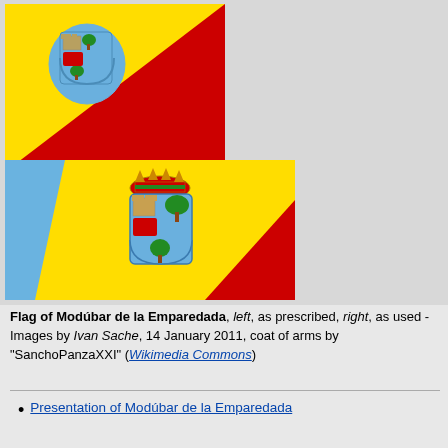[Figure (illustration): Two flag images of Modúbar de la Emparedada side by side. Left flag (smaller): diagonal split with yellow upper-left and red lower-right, with a coat of arms (blue shield with castle and tree) in upper-left area. Right flag (larger): diagonal split blue upper-left and yellow middle and red lower-right, with a larger coat of arms featuring a crown at top and blue shield with castle and tree.]
Flag of Modúbar de la Emparedada, left, as prescribed, right, as used - Images by Ivan Sache, 14 January 2011, coat of arms by "SanchoPanzaXXI" (Wikimedia Commons)
Presentation of Modúbar de la Emparedada